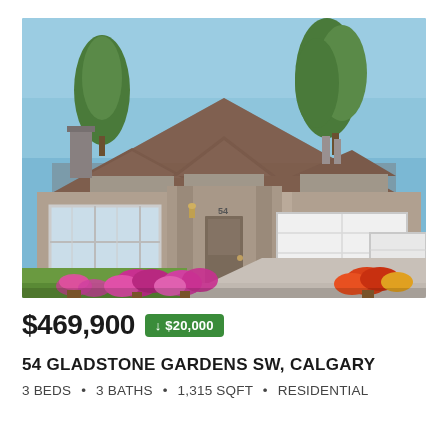[Figure (photo): Exterior photo of a residential home at 54 Gladstone Gardens SW, Calgary. A single-storey house with brown/grey brick and stucco exterior, brown shingle roof with gabled dormers, large white double garage door, covered front entry with stone pillars, large windows, green lawn, and colorful flower arrangements (pink, purple, orange) in front. Two tall evergreen trees visible behind the roofline. Blue sky in background.]
$469,900  ↓ $20,000
54 GLADSTONE GARDENS SW, CALGARY
3 BEDS • 3 BATHS • 1,315 SQFT • RESIDENTIAL